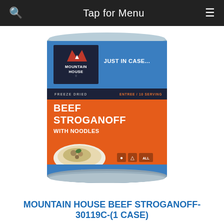Tap for Menu
[Figure (photo): Mountain House Beef Stroganoff with Noodles freeze-dried food product in a large #10 can. The can has a blue background with the Mountain House logo, orange label section showing BEEF STROGANOFF WITH NOODLES in white text, and a photo of the prepared dish on the label.]
MOUNTAIN HOUSE BEEF STROGANOFF-30119C-(1 CASE)